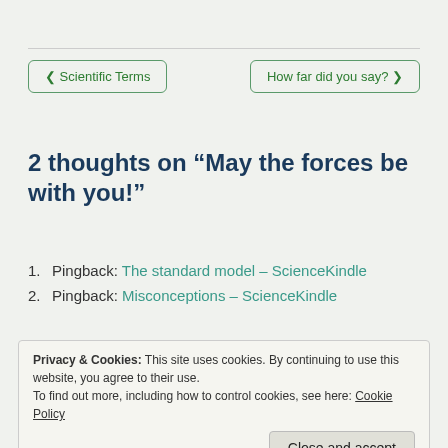< Scientific Terms
How far did you say? >
2 thoughts on “May the forces be with you!”
1. Pingback: The standard model – ScienceKindle
2. Pingback: Misconceptions – ScienceKindle
Privacy & Cookies: This site uses cookies. By continuing to use this website, you agree to their use.
To find out more, including how to control cookies, see here: Cookie Policy
Close and accept